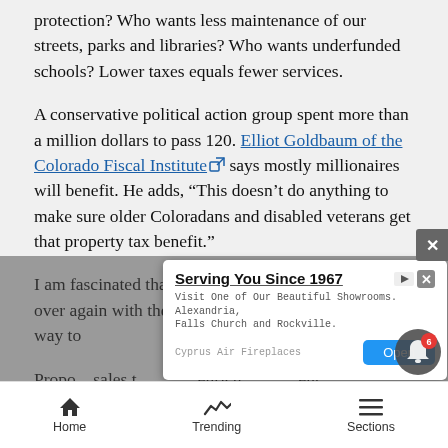protection? Who wants less maintenance of our streets, parks and libraries? Who wants underfunded schools? Lower taxes equals fewer services.
A conservative political action group spent more than a million dollars to pass 120. Elliot Goldbaum of the Colorado Fiscal Institute says mostly millionaires will benefit. He adds, “This doesn’t do anything to make sure older Coloradans and disabled veterans get that property tax benefit.”
I am fascinated that we continue to struggle over and over again with the same issue. This is just another way to ...
Propo... sales t... enrich...
[Figure (screenshot): Advertisement overlay: 'Serving You Since 1967' - Cyprus Air Fireplaces. Visit One of Our Beautiful Showrooms. Alexandria, Falls Church and Rockville. With Open button.]
[Figure (screenshot): Website close (X) button overlay in gray]
[Figure (screenshot): Notification bell icon with badge showing 6]
Home   Trending   Sections